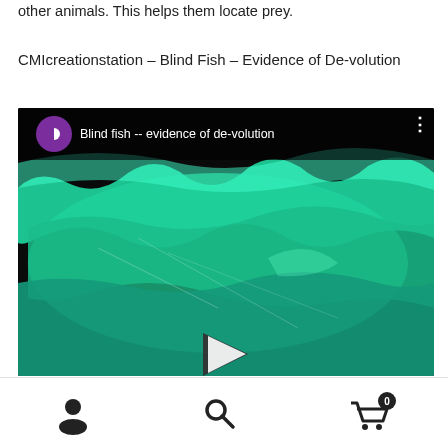other animals. This helps them locate prey.
CMIcreationstation – Blind Fish – Evidence of De-volution
[Figure (screenshot): YouTube-style video thumbnail showing 'Blind fish -- evidence of de-volution' with a green-lit underwater fish image, a play button overlay bar at top, and a large play triangle at the bottom center.]
Navigation icons: user account, search, shopping cart (0)